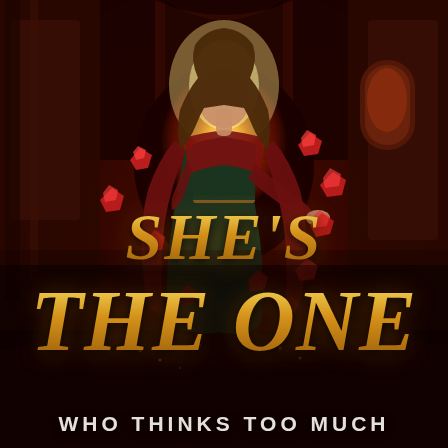[Figure (illustration): Fantasy book cover showing a young woman with long wavy brown hair wearing a dark green medieval dress with a red outer robe/cape, standing in front of a glowing portal or archway. She is in a ruined fantasy setting with a dark red and orange fire-lit atmosphere. Red gemstones or crystals float around her. The background shows crumbling stone architecture with arched windows. The overall color palette is deep red, orange, amber, and dark tones.]
SHE'S THE ONE WHO THINKS TOO MUCH